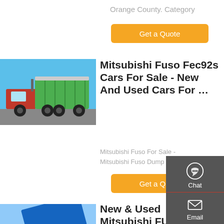Orange County. Category
Get a Quote
[Figure (photo): Green Mitsubishi Fuso dump truck parked outdoors]
Mitsubishi Fuso Fec92s Cars For Sale - New And Used Cars For …
Mitsubishi Fuso For Sale -
Mitsubishi Fuso Dump Trucks
Get a Quote
[Figure (photo): Blue Mitsubishi FUSO dump truck with raised bed]
New & Used Mitsubishi FUSO For Sale In Ontario |